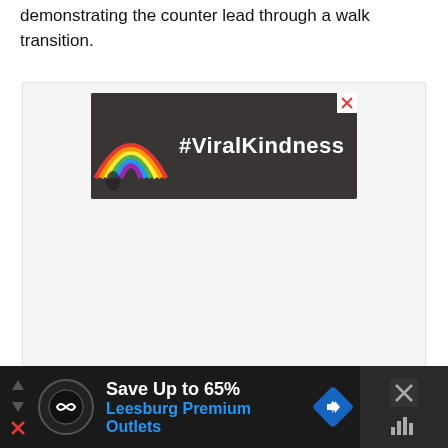demonstrating the counter lead through a walk transition.
[Figure (screenshot): Advertisement banner with dark asphalt background featuring a chalk rainbow drawing on the left and white bold text '#ViralKindness' on the right, with a white X close button in the top right corner.]
[Figure (screenshot): Bottom advertisement bar on dark background. Left side shows navigation arrows and a circular icon with infinity/Boundless logo. Center text reads 'Save Up to 65%' in white and 'Leesburg Premium Outlets' in blue. Right side has a blue diamond navigation icon and an X close button with sound/mute icon.]